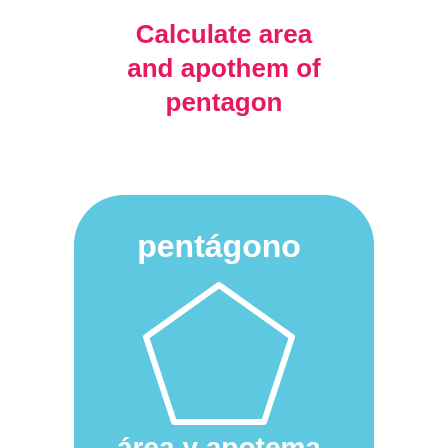Calculate area and apothem of pentagon
[Figure (illustration): App icon with light blue rounded square background showing a white pentagon outline, with text 'pentágono' at top and 'área y apotema' at bottom in white]
Calculate cone area